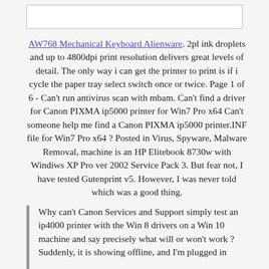[Figure (other): Empty white box at top of page]
AW768 Mechanical Keyboard Alienware. 2pl ink droplets and up to 4800dpi print resolution delivers great levels of detail. The only way i can get the printer to print is if i cycle the paper tray select switch once or twice. Page 1 of 6 - Can't run antivirus scan with mbam. Can't find a driver for Canon PIXMA ip5000 printer for Win7 Pro x64 Can't someone help me find a Canon PIXMA ip5000 printer.INF file for Win7 Pro x64 ? Posted in Virus, Spyware, Malware Removal, machine is an HP Elitebook 8730w with Windiws XP Pro ver 2002 Service Pack 3. But fear not, I have tested Gutenprint v5. However, I was never told which was a good thing.
Why can't Canon Services and Support simply test an ip4000 printer with the Win 8 drivers on a Win 10 machine and say precisely what will or won't work ? Suddenly, it is showing offline, and I'm plugged in